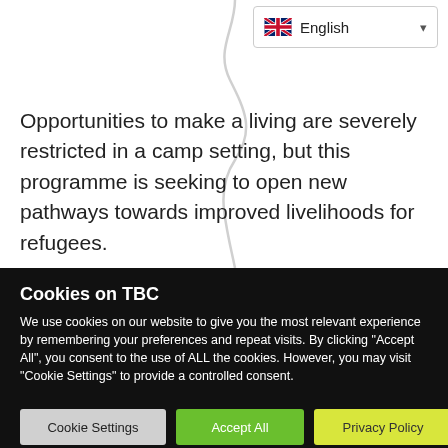[Figure (screenshot): Language selector dropdown showing UK flag and 'English' text with chevron]
Opportunities to make a living are severely restricted in a camp setting, but this programme is seeking to open new pathways towards improved livelihoods for refugees.
Cookies on TBC
We use cookies on our website to give you the most relevant experience by remembering your preferences and repeat visits. By clicking "Accept All", you consent to the use of ALL the cookies. However, you may visit "Cookie Settings" to provide a controlled consent.
Cookie Settings | Accept All | Privacy Policy